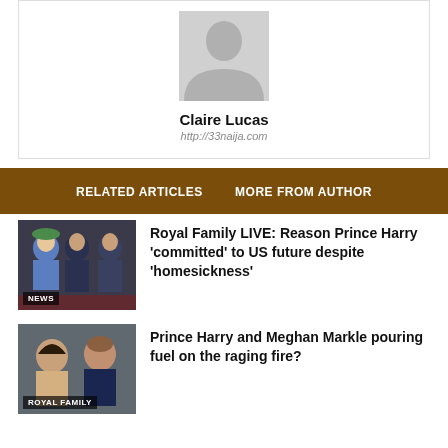[Figure (photo): Default avatar silhouette placeholder image]
Claire Lucas
http://33naija.com
RELATED ARTICLES   MORE FROM AUTHOR
[Figure (photo): Photo of Royal Family members including Queen Elizabeth, Meghan Markle, and Prince Harry. Badge: NEWS]
Royal Family LIVE: Reason Prince Harry 'committed' to US future despite 'homesickness'
[Figure (photo): Photo of Prince Harry and Meghan Markle. Badge: ROYAL FAMILY]
Prince Harry and Meghan Markle pouring fuel on the raging fire?